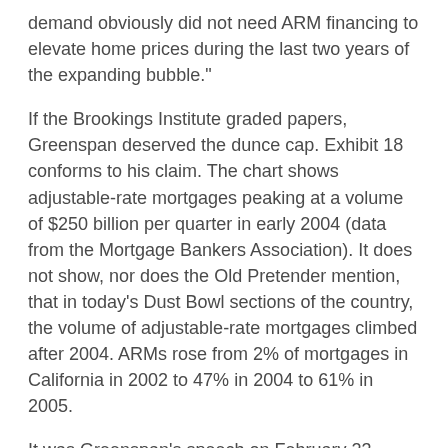demand obviously did not need ARM financing to elevate home prices during the last two years of the expanding bubble."
If the Brookings Institute graded papers, Greenspan deserved the dunce cap. Exhibit 18 conforms to his claim. The chart shows adjustable-rate mortgages peaking at a volume of $250 billion per quarter in early 2004 (data from the Mortgage Bankers Association). It does not show, nor does the Old Pretender mention, that in today's Dust Bowl sections of the country, the volume of adjustable-rate mortgages climbed after 2004. ARMs rose from 2% of mortgages in California in 2002 to 47% in 2004 to 61% in 2005.
It was Greenspan's speech on February 23, 2004, that stripped him of trustworthiness when discussing housing. On that date, he sounded like a shill for the National Association of Homebuilders when he claimed "[m]any homeowners might have saved tens of thousands of dollars had they held adjustable-rate mortgages rather than fixed-rate mortgages over the past decade."